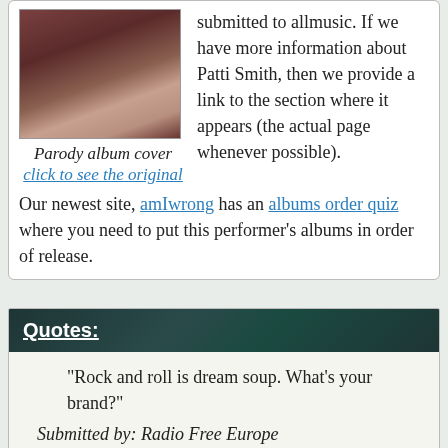[Figure (photo): Parody album cover photo of Patti Smith]
Parody album cover
click to see the original
submitted to allmusic. If we have more information about Patti Smith, then we provide a link to the section where it appears (the actual page whenever possible).

Our newest site, amIwrong has an albums order quiz where you need to put this performer's albums in order of release.
Quotes:
"Rock and roll is dream soup. What's your brand?"
Submitted by: Radio Free Europe